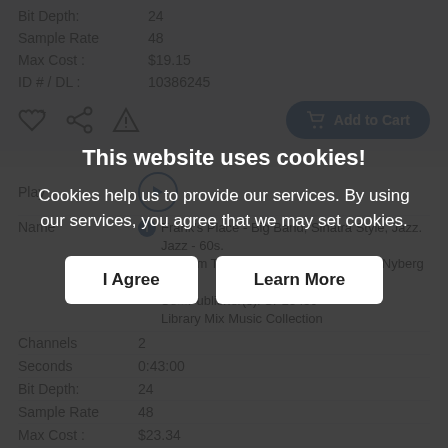Bit Depth: 24
Sample Rate: 48
Max Cost: $19.15
ID # / DL: 10386245
[Figure (screenshot): Add to Cart button with shopping cart icon, blue rounded rectangle]
Play
[Figure (screenshot): Play button - circle with right-pointing triangle]
Name
Frank's Place - Big Band, Sinatra Style, Jazz. Jazz - 60s. Medium Tempo. Mix Signature: Jason Nyberg (BMI); Se... Publisher(s): SP23459 Library Mix Music Collection
Channels: 2
Seconds: 0:43:00
Bit Depth: 24
Sample Rate: 48
Max Cost: $23.34
ID # / DL: 10386660
This website uses cookies!
Cookies help us to provide our services. By using our services, you agree that we may set cookies.
I Agree
Learn More